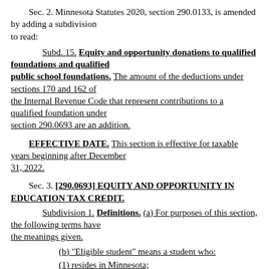Sec. 2. Minnesota Statutes 2020, section 290.0133, is amended by adding a subdivision to read:
Subd. 15. Equity and opportunity donations to qualified foundations and qualified public school foundations. The amount of the deductions under sections 170 and 162 of the Internal Revenue Code that represent contributions to a qualified foundation under section 290.0693 are an addition.
EFFECTIVE DATE. This section is effective for taxable years beginning after December 31, 2022.
Sec. 3. [290.0693] EQUITY AND OPPORTUNITY IN EDUCATION TAX CREDIT.
Subdivision 1. Definitions. (a) For purposes of this section, the following terms have the meanings given.
(b) "Eligible student" means a student who:
(1) resides in Minnesota;
(2) is either: